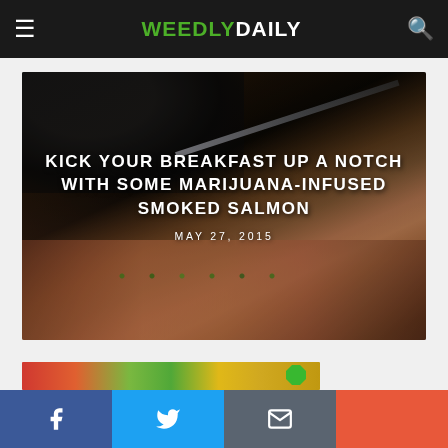WEEDLYDAILY
[Figure (photo): Close-up photo of salmon fillet being prepared with herbs/spices on a wooden cutting board, with a black-gloved hand and knife visible]
KICK YOUR BREAKFAST UP A NOTCH WITH SOME MARIJUANA-INFUSED SMOKED SALMON
MAY 27, 2015
[Figure (photo): Partial view of a colorful image at the bottom of the page]
f  Twitter  Email  +